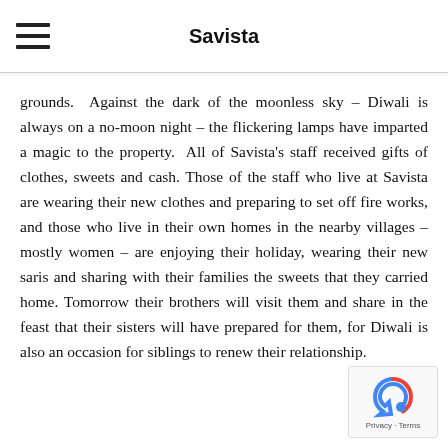Savista
grounds.  Against the dark of the moonless sky – Diwali is always on a no-moon night – the flickering lamps have imparted a magic to the property.  All of Savista's staff received gifts of clothes, sweets and cash. Those of the staff who live at Savista are wearing their new clothes and preparing to set off fire works, and those who live in their own homes in the nearby villages – mostly women – are enjoying their holiday, wearing their new saris and sharing with their families the sweets that they carried home. Tomorrow their brothers will visit them and share in the feast that their sisters will have prepared for them, for Diwali is also an occasion for siblings to renew their relationship.